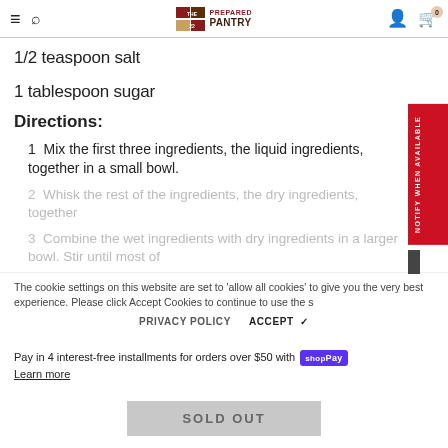The Prepared Pantry — navigation bar with hamburger menu, search, logo, user and cart icons
1/2 teaspoon salt
1 tablespoon sugar
Directions:
1  Mix the first three ingredients, the liquid ingredients, together in a small bowl.
2  Whisk the rest of the ingredients, the dry ingredients, together
3  Combine the wet ingredients with dry ingredients in a larger bowl. Stir until most of
The cookie settings on this website are set to 'allow all cookies' to give you the very best experience. Please click Accept Cookies to continue to use the site.
Pay in 4 interest-free installments for orders over $50 with Shop Pay
Learn more
SOLD OUT